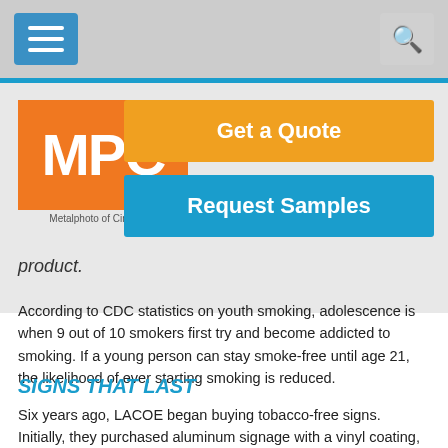[Figure (logo): Navigation bar with hamburger menu icon (blue button with three white lines) on the left and a search icon on the right, on a gray background]
[Figure (logo): MPC Metalphoto of Cincinnati logo - orange square with white MPC letters]
[Figure (other): Orange 'Get a Quote' button and blue 'Request Samples' button]
product.
According to CDC statistics on youth smoking, adolescence is when 9 out of 10 smokers first try and become addicted to smoking. If a young person can stay smoke-free until age 21, the likelihood of ever starting smoking is reduced.
SIGNS THAT LAST
Six years ago, LACOE began buying tobacco-free signs. Initially, they purchased aluminum signage with a vinyl coating, which were estimated to last five years.